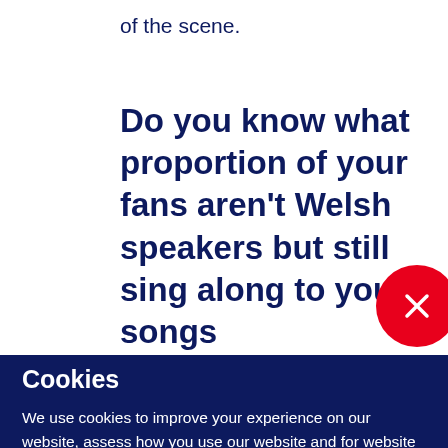of the scene.
Do you know what proportion of your fans aren't Welsh speakers but still sing along to your songs
Cookies
We use cookies to improve your experience on our website, assess how you use our website and for website security purposes. By continuing to navigate this website, we'll assume you agree to this. Read more about what cookies do and how to adjust your settings here.